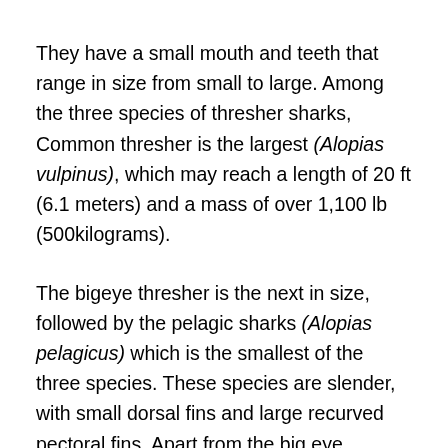They have a small mouth and teeth that range in size from small to large. Among the three species of thresher sharks, Common thresher is the largest (Alopias vulpinus), which may reach a length of 20 ft (6.1 meters) and a mass of over 1,100 lb (500kilograms).
The bigeye thresher is the next in size, followed by the pelagic sharks (Alopias pelagicus) which is the smallest of the three species. These species are slender, with small dorsal fins and large recurved pectoral fins. Apart from the big eye thresher, the other two species have small eyes positioned to the forward of their head.